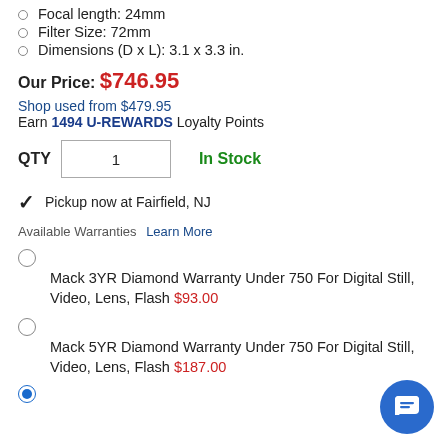Focal length: 24mm
Filter Size: 72mm
Dimensions (D x L): 3.1 x 3.3 in.
Our Price: $746.95
Shop used from $479.95
Earn 1494 U-REWARDS Loyalty Points
QTY 1   In Stock
Pickup now at Fairfield, NJ
Available Warranties Learn More
Mack 3YR Diamond Warranty Under 750 For Digital Still, Video, Lens, Flash $93.00
Mack 5YR Diamond Warranty Under 750 For Digital Still, Video, Lens, Flash $187.00